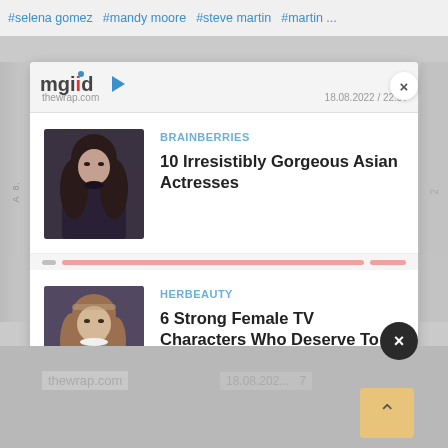#selena gomez  #mandy moore  #steve martin  #martin ...
[Figure (screenshot): mgid content recommendation widget showing logo and thewrap.com / 18.08.2022 / 22:57 header]
BRAINBERRIES
10 Irresistibly Gorgeous Asian Actresses
HERBEAUTY
6 Strong Female TV Characters Who Deserve To Have A Spinoff
#trump  #giabomo  #instagram  #p...